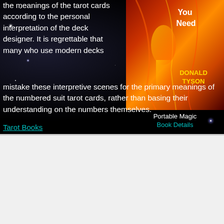the meanings of the tarot cards according to the personal interpretation of the deck designer. It is regrettable that many who use modern decks mistake these interpretive scenes for the primary meanings of the numbered suit tarot cards, rather than basing their understanding on the numbers themselves.
[Figure (photo): Book cover with fiery/golden imagery and text 'You Need' and 'DONALD TYSON']
Portable Magic
Book Details
Tarot Books
We use cookies on our website to give you the most relevant experience by remembering your preferences and repeat visits. By clicking “Accept All”, you consent to the use of ALL the cookies. However, you may visit "Cookie Settings" to provide a controlled consent.